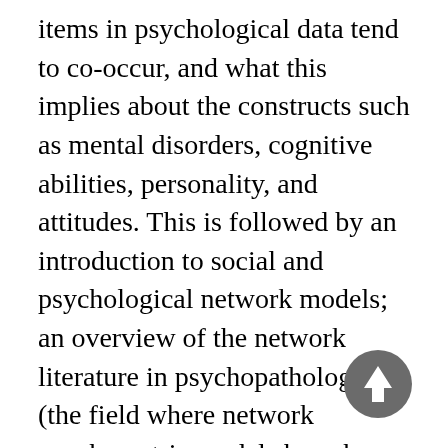items in psychological data tend to co-occur, and what this implies about the constructs such as mental disorders, cognitive abilities, personality, and attitudes. This is followed by an introduction to social and psychological network models; an overview of the network literature in psychopathology (the field where network psychometric models have been used most over the last years); and a summary of important topics (centrality, comorbidity, early warning signals).
[Figure (other): A circular scroll-to-top button with an upward arrow, gray background]